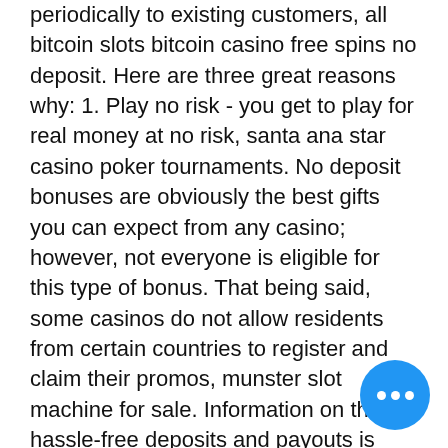periodically to existing customers, all bitcoin slots bitcoin casino free spins no deposit. Here are three great reasons why: 1. Play no risk - you get to play for real money at no risk, santa ana star casino poker tournaments. No deposit bonuses are obviously the best gifts you can expect from any casino; however, not everyone is eligible for this type of bonus. That being said, some casinos do not allow residents from certain countries to register and claim their promos, munster slot machine for sale. Information on their hassle-free deposits and payouts is easy to find. And depositing and withdrawing funds have become even easier with the addition of Bitcoin as a payment method, video of casino reopening. You may also notice details about a promotion but we will take you through that following this review in our Casino Tropez promo code section, blackjack online algorithm scam. Scroll down the page and you are presented with